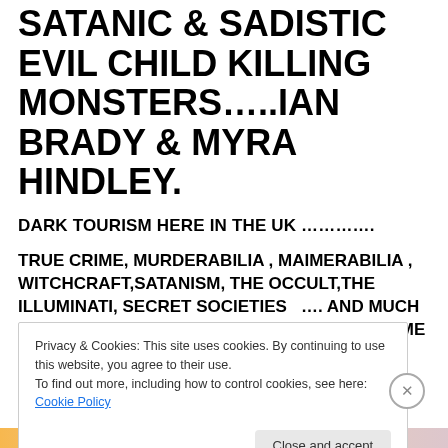SATANIC & SADISTIC EVIL CHILD KILLING MONSTERS…..IAN BRADY & MYRA HINDLEY.
DARK TOURISM HERE IN THE UK ………….
TRUE CRIME, MURDERABILIA , MAIMERABILIA , WITCHCRAFT,SATANISM, THE OCCULT,THE ILLUMINATI, SECRET SOCIETIES …. AND MUCH MORE HERE AT THE UK'S CRIME THROUGH TIME
Privacy & Cookies: This site uses cookies. By continuing to use this website, you agree to their use.
To find out more, including how to control cookies, see here: Cookie Policy